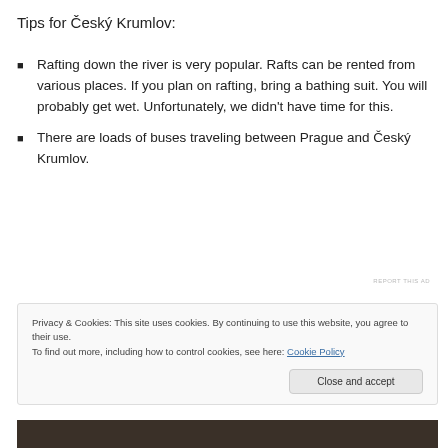Tips for Český Krumlov:
Rafting down the river is very popular. Rafts can be rented from various places. If you plan on rafting, bring a bathing suit. You will probably get wet. Unfortunately, we didn't have time for this.
There are loads of buses traveling between Prague and Český Krumlov.
REPORT THIS AD
Privacy & Cookies: This site uses cookies. By continuing to use this website, you agree to their use.
To find out more, including how to control cookies, see here: Cookie Policy
Close and accept
[Figure (photo): Dark strip at bottom showing a partial photo]